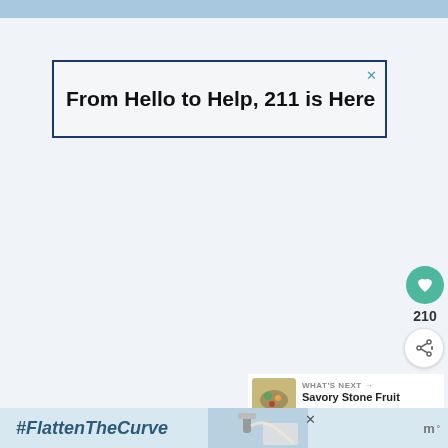[Figure (screenshot): Advertisement banner: 'From Hello to Help, 211 is Here' with a close X button, blue border]
210
[Figure (infographic): Heart (like) button in teal, share button, and WHAT'S NEXT section with 'Savory Stone Fruit Quinoa...']
[Figure (screenshot): #FlattenTheCurve advertisement banner at the bottom with handwashing image]